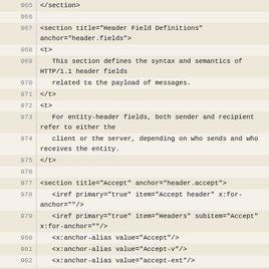| line | code |
| --- | --- |
| 965 | </section> |
| 966 |  |
| 967 | <section title="Header Field Definitions" anchor="header.fields"> |
| 968 | <t> |
| 969 |    This section defines the syntax and semantics of HTTP/1.1 header fields |
| 970 |    related to the payload of messages. |
| 971 | </t> |
| 972 | <t> |
| 973 |    For entity-header fields, both sender and recipient refer to either the |
| 974 |    client or the server, depending on who sends and who receives the entity. |
| 975 | </t> |
| 976 |  |
| 977 | <section title="Accept" anchor="header.accept"> |
| 978 |    <iref primary="true" item="Accept header" x:for-anchor=""/> |
| 979 |    <iref primary="true" item="Headers" subitem="Accept" x:for-anchor=""/> |
| 980 |    <x:anchor-alias value="Accept"/> |
| 981 |    <x:anchor-alias value="Accept-v"/> |
| 982 |    <x:anchor-alias value="accept-ext"/> |
| 983 |    <x:anchor-alias value="accept-params"/> |
| 984 |    <x:anchor-alias value="media-range"/> |
| 985 | <t> |
| 986 |    The "Accept" request-header field can be used by user agents to specify |
| 987 |    response media types that are acceptable. Accept headers can be used to |
| 988 |    indicate that the request is specifically limited to a small set of desired |
| 989 |    types, as in the case of a request for an in-line |